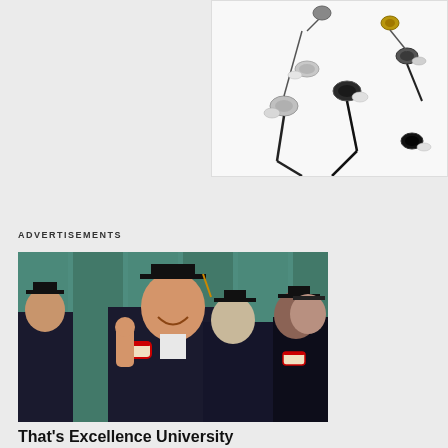[Figure (photo): Product photo of multiple in-ear earbuds/earphones in silver and black colors on a white background]
ADVERTISEMENTS
[Figure (photo): Group of smiling graduates wearing black caps and gowns, holding diplomas, with a teal/green building in the background]
That's Excellence University